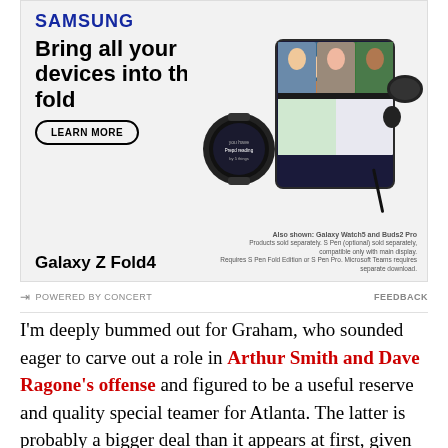[Figure (illustration): Samsung advertisement showing Galaxy Z Fold4 with Galaxy Watch5 and Buds2 Pro. Headline reads 'Bring all your devices into the fold' with a LEARN MORE button. Shows the foldable phone open with a video call, alongside a smartwatch and earbuds case.]
POWERED BY CONCERT   FEEDBACK
I'm deeply bummed out for Graham, who sounded eager to carve out a role in Arthur Smith and Dave Ragone's offense and figured to be a useful reserve and quality special teamer for Atlanta. The latter is probably a bigger deal than it appears at first, given